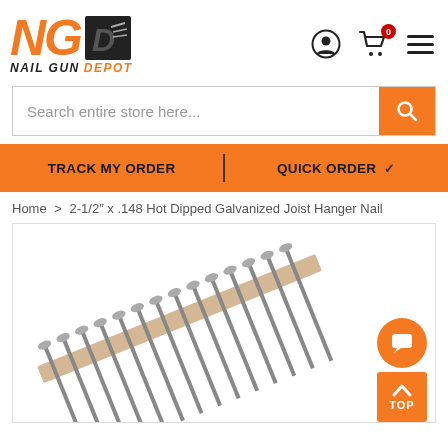[Figure (logo): Nail Gun Depot logo with orange NG letters and black D arrow icon]
Search entire store here...
TRACK MY ORDER | QUICK ORDER
Home > 2-1/2" x .148 Hot Dipped Galvanized Joist Hanger Nail
[Figure (photo): Strip of hot dipped galvanized joist hanger nails arranged diagonally on white background]